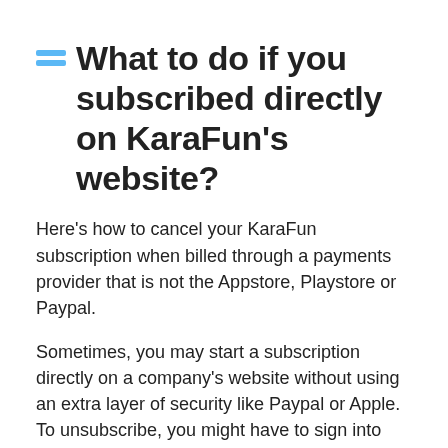What to do if you subscribed directly on KaraFun's website?
Here's how to cancel your KaraFun subscription when billed through a payments provider that is not the Appstore, Playstore or Paypal.
Sometimes, you may start a subscription directly on a company's website without using an extra layer of security like Paypal or Apple. To unsubscribe, you might have to sign into KaraFun's website or directly reach out to their payments provider.
Generally, here are some steps you can take if you find yourself in that fix:
Finding the company's information, then reach